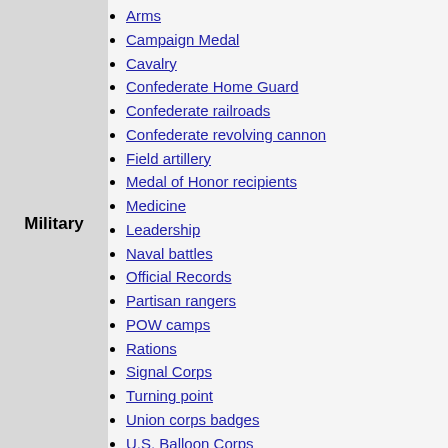Military
Arms
Campaign Medal
Cavalry
Confederate Home Guard
Confederate railroads
Confederate revolving cannon
Field artillery
Medal of Honor recipients
Medicine
Leadership
Naval battles
Official Records
Partisan rangers
POW camps
Rations
Signal Corps
Turning point
Union corps badges
U.S. Balloon Corps
U.S. Home Guard
U.S. Military Railroad
Committee on the Conduct of the War
Confederate States presidential election of 1861